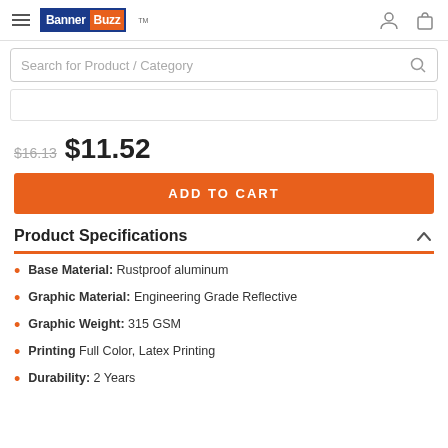BannerBuzz
Search for Product / Category
[Figure (other): Partial product image placeholder area]
$16.13  $11.52
ADD TO CART
Product Specifications
Base Material: Rustproof aluminum
Graphic Material: Engineering Grade Reflective
Graphic Weight: 315 GSM
Printing Full Color, Latex Printing
Durability: 2 Years